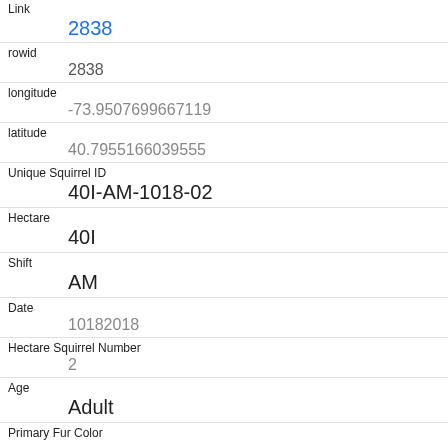| Field | Value |
| --- | --- |
| Link | 2838 |
| rowid | 2838 |
| longitude | -73.9507699667119 |
| latitude | 40.7955166039555 |
| Unique Squirrel ID | 40I-AM-1018-02 |
| Hectare | 40I |
| Shift | AM |
| Date | 10182018 |
| Hectare Squirrel Number | 2 |
| Age | Adult |
| Primary Fur Color |  |